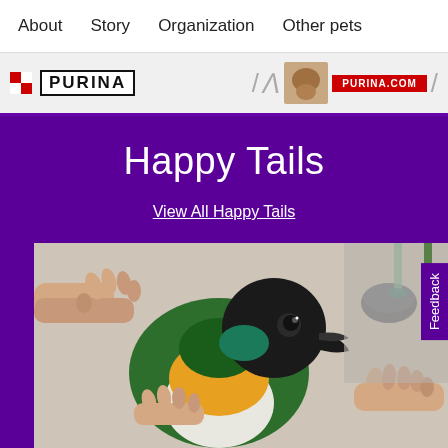About  Story  Organization  Other pets
[Figure (photo): Advertisement banner showing Purina logo and a pet image with red banner]
Happy Tails
View All Happy Tails
[Figure (photo): Close-up photo of a black-headed caique parrot with green wings, orange and yellow chest, perched on a person's hand in a kitchen setting]
Feedback